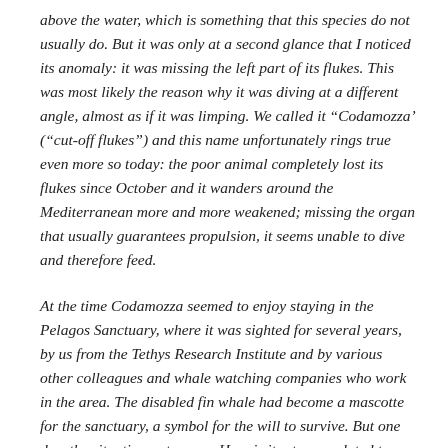above the water, which is something that this species do not usually do. But it was only at a second glance that I noticed its anomaly: it was missing the left part of its flukes. This was most likely the reason why it was diving at a different angle, almost as if it was limping. We called it "Codamozza' ("cut-off flukes") and this name unfortunately rings true even more so today: the poor animal completely lost its flukes since October and it wanders around the Mediterranean more and more weakened; missing the organ that usually guarantees propulsion, it seems unable to dive and therefore feed.
At the time Codamozza seemed to enjoy staying in the Pelagos Sanctuary, where it was sighted for several years, by us from the Tethys Research Institute and by various other colleagues and whale watching companies who work in the area. The disabled fin whale had become a mascotte for the sanctuary, a symbol for the will to survive. But one day, the situation got worse. Here is its story, updated to sunday June 14th. It has not been spotted